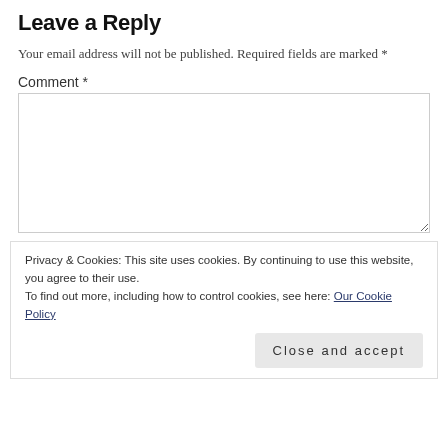Leave a Reply
Your email address will not be published. Required fields are marked *
Comment *
Privacy & Cookies: This site uses cookies. By continuing to use this website, you agree to their use.
To find out more, including how to control cookies, see here: Our Cookie Policy
Close and accept